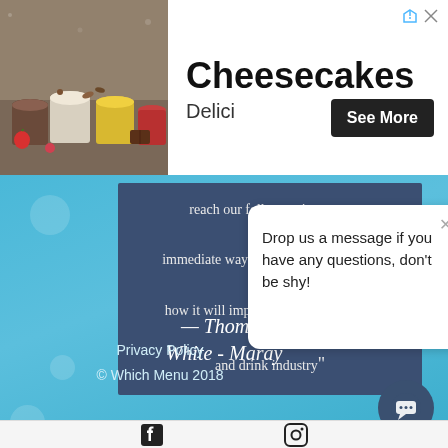[Figure (screenshot): Advertisement banner with photo of cheesecake desserts in jars, title 'Cheesecakes', subtitle 'Delici', and a 'See More' button. Arrow and X icons in top right.]
[Figure (screenshot): Website screenshot showing a light blue background with a dark navy quote box containing text about reaching followers, an attribution to Thomas White - Maray, a chat popup saying 'Drop us a message if you have any questions, don't be shy!', Privacy Policy link, copyright notice, chat bubble button, and social media icons for Facebook and Instagram at bottom.]